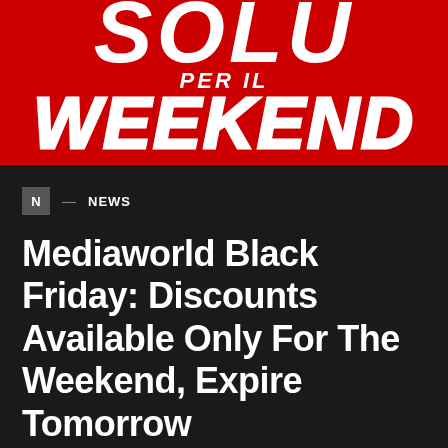[Figure (illustration): Red banner image with Italian text - large stylized white letters reading 'SOLO PER IL WEEKEND' on red background]
N — NEWS
Mediaworld Black Friday: Discounts Available Only For The Weekend, Expire Tomorrow
BY ADMIN · FEBRUARY 21, 2022 · NO COMMENTS
MediaWorld welcomed the arrival of the weekend by launching a new round of its Discounts only for the...